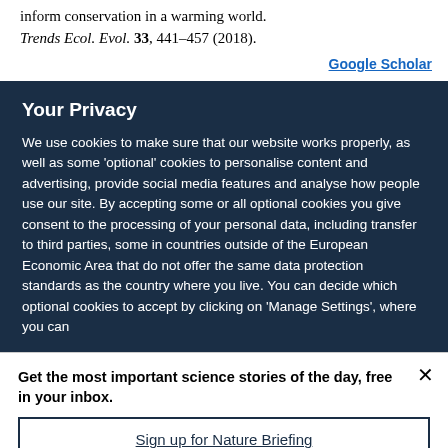inform conservation in a warming world. Trends Ecol. Evol. 33, 441–457 (2018).
Google Scholar
Your Privacy
We use cookies to make sure that our website works properly, as well as some 'optional' cookies to personalise content and advertising, provide social media features and analyse how people use our site. By accepting some or all optional cookies you give consent to the processing of your personal data, including transfer to third parties, some in countries outside of the European Economic Area that do not offer the same data protection standards as the country where you live. You can decide which optional cookies to accept by clicking on 'Manage Settings', where you can
Get the most important science stories of the day, free in your inbox.
Sign up for Nature Briefing